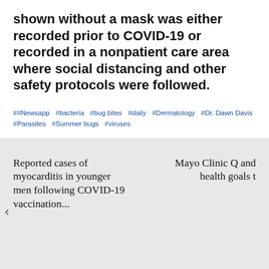shown without a mask was either recorded prior to COVID-19 or recorded in a nonpatient care area where social distancing and other safety protocols were followed.
##Newsapp  #bacteria  #bug bites  #daily  #Dermatology  #Dr. Dawn Davis  #Parasites  #Summer bugs  #viruses
Reported cases of myocarditis in younger men following COVID-19 vaccination...
Mayo Clinic Q and... health goals t...
FEATURED NEWS
By Alex Osiadacz   September 1, 2022
Mayo Clinic Minute: How is periph...